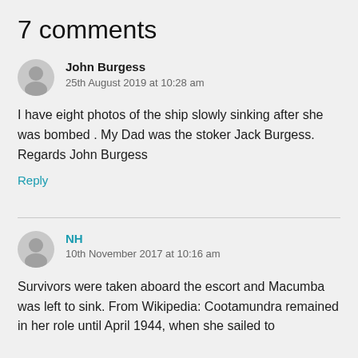7 comments
John Burgess
25th August 2019 at 10:28 am
I have eight photos of the ship slowly sinking after she was bombed . My Dad was the stoker Jack Burgess. Regards John Burgess
Reply
NH
10th November 2017 at 10:16 am
Survivors were taken aboard the escort and Macumba was left to sink. From Wikipedia: Cootamundra remained in her role until April 1944, when she sailed to